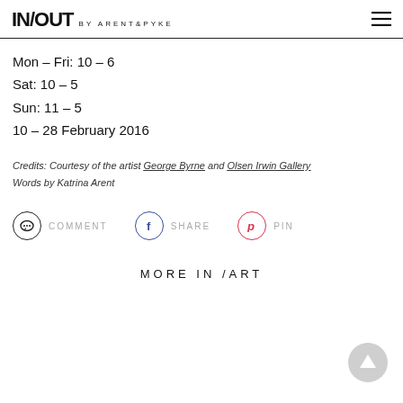IN/OUT BY ARENT&PYKE
Mon – Fri: 10 – 6
Sat: 10 – 5
Sun: 11 – 5
10 – 28 February 2016
Credits: Courtesy of the artist George Byrne and Olsen Irwin Gallery
Words by Katrina Arent
[Figure (infographic): Social sharing bar with Comment, Share (Facebook), and Pin (Pinterest) buttons]
MORE IN /ART
[Figure (illustration): Scroll-to-top button arrow circle in bottom right corner]